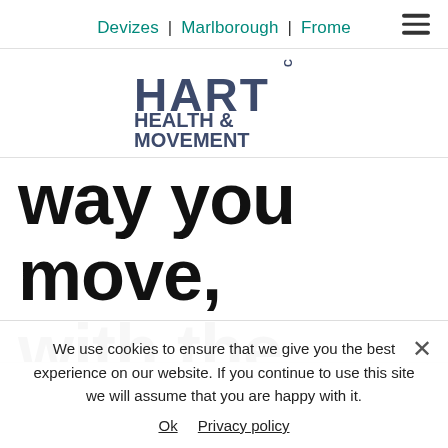Devizes | Marlborough | Frome
[Figure (logo): Hart Health & Movement clinic logo with stylized letters and vertical CLIN text]
way you move, with the intention of
We use cookies to ensure that we give you the best experience on our website. If you continue to use this site we will assume that you are happy with it.
Ok   Privacy policy